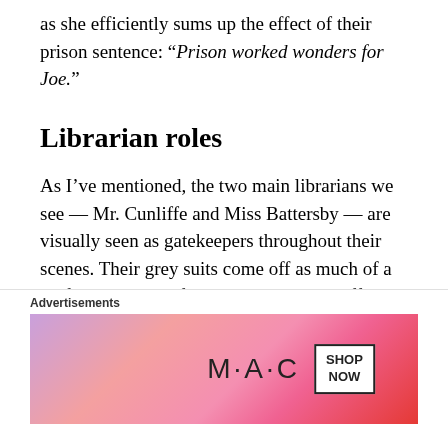as she efficiently sums up the effect of their prison sentence: “Prison worked wonders for Joe.”
Librarian roles
As I’ve mentioned, the two main librarians we see — Mr. Cunliffe and Miss Battersby — are visually seen as gatekeepers throughout their scenes. Their grey suits come off as much of a uniform as the uniforms that the police officers wear. The librarians even attend court to
Advertisements
[Figure (photo): MAC cosmetics advertisement banner showing lipsticks in purple, pink, and red tones with MAC logo and SHOP NOW button]